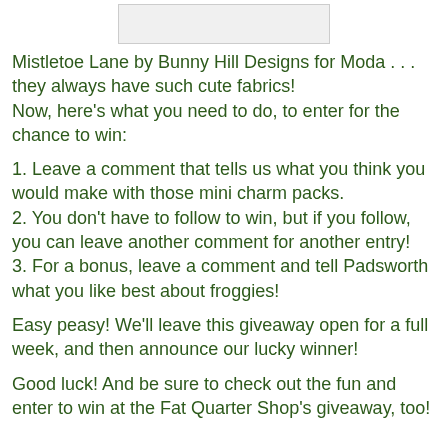[Figure (other): Image placeholder at top of page]
Mistletoe Lane by Bunny Hill Designs for Moda . . . they always have such cute fabrics!
Now, here's what you need to do, to enter for the chance to win:
1. Leave a comment that tells us what you think you would make with those mini charm packs.
2. You don't have to follow to win, but if you follow, you can leave another comment for another entry!
3. For a bonus, leave a comment and tell Padsworth what you like best about froggies!
Easy peasy! We'll leave this giveaway open for a full week, and then announce our lucky winner!
Good luck! And be sure to check out the fun and enter to win at the Fat Quarter Shop's giveaway, too!